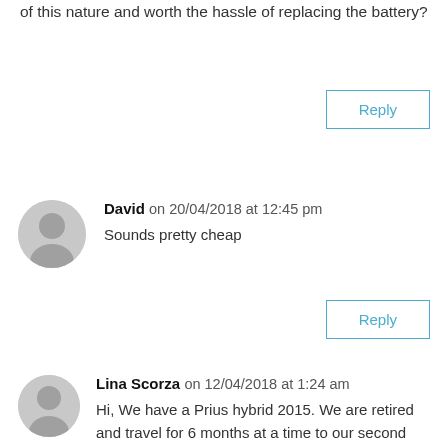of this nature and worth the hassle of replacing the battery?
Reply
David on 20/04/2018 at 12:45 pm
Sounds pretty cheap
Reply
Lina Scorza on 12/04/2018 at 1:24 am
Hi, We have a Prius hybrid 2015. We are retired and travel for 6 months at a time to our second home. How will not using the car for 6 months affect the Prius battery life? What maintenance would you recommend (if any) to extend the life of the battery? Thanks so much